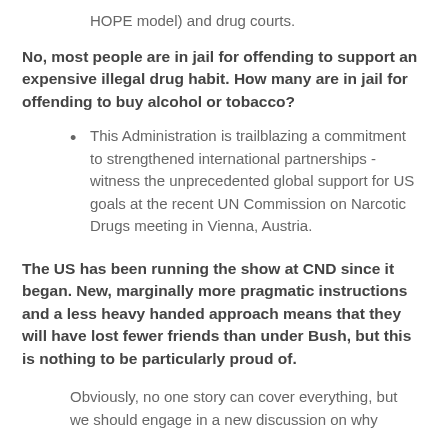HOPE model) and drug courts.
No, most people are in jail for offending to support an expensive illegal drug habit. How many are in jail for offending to buy alcohol or tobacco?
This Administration is trailblazing a commitment to strengthened international partnerships - witness the unprecedented global support for US goals at the recent UN Commission on Narcotic Drugs meeting in Vienna, Austria.
The US has been running the show at CND since it began. New, marginally more pragmatic instructions and a less heavy handed approach means that they will have lost fewer friends than under Bush, but this is nothing to be particularly proud of.
Obviously, no one story can cover everything, but we should engage in a new discussion on why